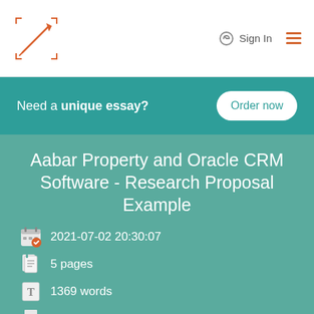Logo | Sign In | Menu
Need a unique essay? Order now
Aabar Property and Oracle CRM Software - Research Proposal Example
2021-07-02 20:30:07
5 pages
1369 words
Print Essay